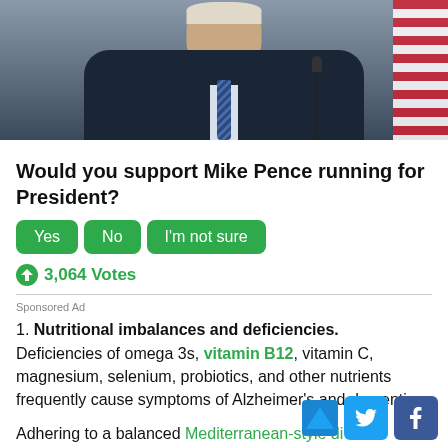[Figure (photo): Photo of a man in a dark navy suit with a striped tie, standing at a microphone podium, with a flag visible in the background.]
Would you support Mike Pence running for President?
Yes  No  I'm not sure
3,064 Votes
Sponsored Ad
1. Nutritional imbalances and deficiencies.
Deficiencies of omega 3s, vitamin B12, vitamin C, magnesium, selenium, probiotics, and other nutrients frequently cause symptoms of Alzheimer's and dementia.
Adhering to a balanced Mediterranean-style di